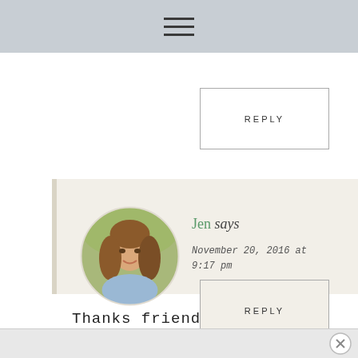Navigation menu (hamburger icon)
REPLY
[Figure (photo): Circular avatar photo of a smiling young woman with long brown hair, wearing a light blue shirt, in an outdoor setting]
Jen says
November 20, 2016 at 9:17 pm
Thanks friend!
REPLY